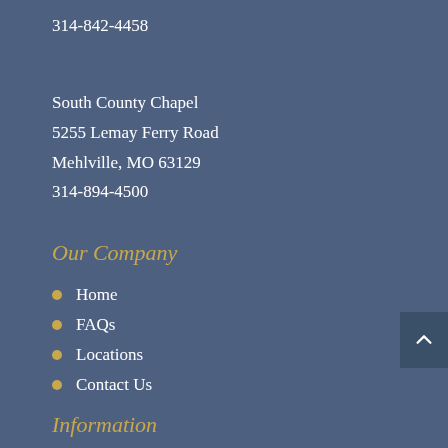314-842-4458
South County Chapel
5255 Lemay Ferry Road
Mehlville, MO 63129
314-894-4500
Our Company
Home
FAQs
Locations
Contact Us
Information